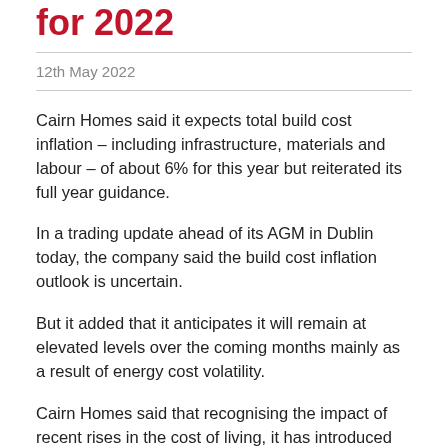for 2022
12th May 2022
Cairn Homes said it expects total build cost inflation – including infrastructure, materials and labour – of about 6% for this year but reiterated its full year guidance.
In a trading update ahead of its AGM in Dublin today, the company said the build cost inflation outlook is uncertain.
But it added that it anticipates it will remain at elevated levels over the coming months mainly as a result of energy cost volatility.
Cairn Homes said that recognising the impact of recent rises in the cost of living, it has introduced cost of living increases for employees in line with forecasts.
The home builder said that demand for its "energy